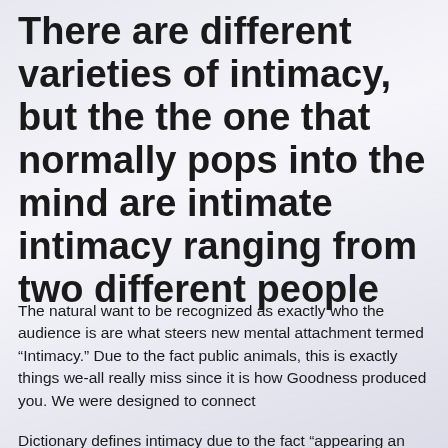There are different varieties of intimacy, but the the one that normally pops into the mind are intimate intimacy ranging from two different people
The natural want to be recognized as exactly who the audience is are what steers new mental attachment termed “Intimacy.” Due to the fact public animals, this is exactly things we-all really miss since it is how Goodness produced you. We were designed to connect
Dictionary defines intimacy due to the fact “appearing an almost connection otherwise blend of dirt or aspects.” It’s recognized as an optimistic psychological thread you to definitely evokes feelings and routines associated with understanding and service. Intimacy comes to which have distance to some other that requires the new mingling regarding souls while the revealing out-